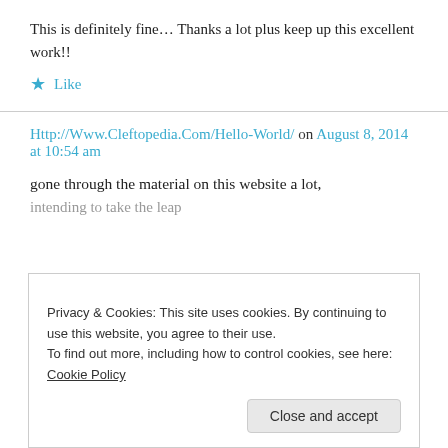This is definitely fine… Thanks a lot plus keep up this excellent work!!
★ Like
Http://Www.Cleftopedia.Com/Hello-World/ on August 8, 2014 at 10:54 am
gone through the material on this website a lot,
intending to take the leap
Privacy & Cookies: This site uses cookies. By continuing to use this website, you agree to their use.
To find out more, including how to control cookies, see here: Cookie Policy
Close and accept